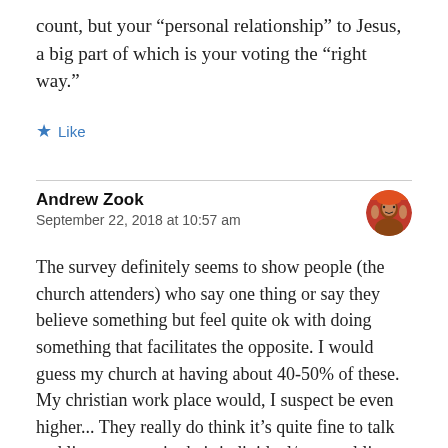count, but your “personal relationship” to Jesus, a big part of which is your voting the “right way.”
★ Like
Andrew Zook
September 22, 2018 at 10:57 am
The survey definitely seems to show people (the church attenders) who say one thing or say they believe something but feel quite ok with doing something that facilitates the opposite. I would guess my church at having about 40-50% of these. My christian work place would, I suspect be even higher... They really do think it’s quite fine to talk and live one way in their individual/personal lives but then on a more